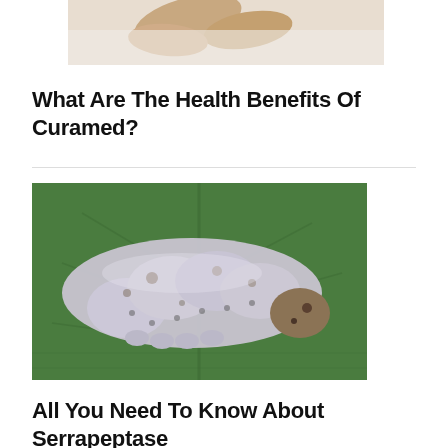[Figure (photo): Partial photo of what appears to be a light-colored root or hand against a white background, cropped at the top]
What Are The Health Benefits Of Curamed?
[Figure (photo): A large white/pale caterpillar (silkworm) resting on a green leaf, photographed close-up]
All You Need To Know About Serrapeptase